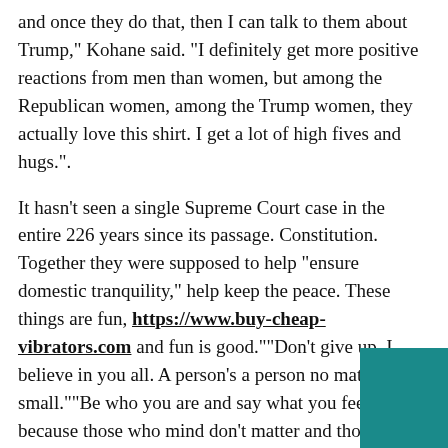and once they do that, then I can talk to them about Trump," Kohane said. “I definitely get more positive reactions from men than women, but among the Republican women, among the Trump women, they actually love this shirt. I get a lot of high fives and hugs.".
It hasn't seen a single Supreme Court case in the entire 226 years since its passage. Constitution. Together they were supposed to help “ensure domestic tranquility,” help keep the peace. These things are fun, https://www.buy-cheap-vibrators.com and fun is good.""Don't give up. I believe in you all. A person's a person no matter how small.""Be who you are and say what you feel, because those who mind don't matter and those who matter don't mind."Wow, thats quite a situation.
But as Bishop Guo spoke, the power of the underground Catholic Church in this part of the country was on full display. Sitting on a couch as